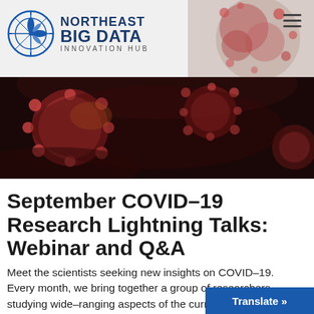[Figure (logo): Northeast Big Data Innovation Hub logo with compass icon and text]
[Figure (photo): Close-up microscopic image of COVID-19 coronavirus particles, red and dark background]
September COVID-19 Research Lightning Talks: Webinar and Q&A
Meet the scientists seeking new insights on COVID-19. Every month, we bring together a group of researchers studying wide-ranging aspects of the current pandemic, to share their research and answer questions